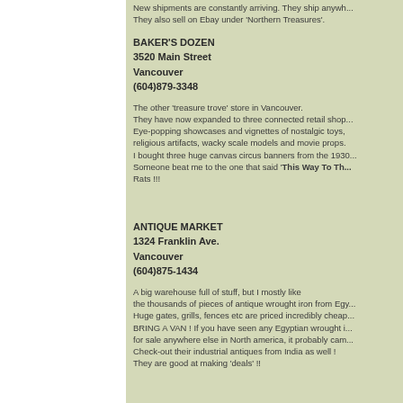New shipments are constantly arriving. They ship anywh... They also sell on Ebay under 'Northern Treasures'.
BAKER'S DOZEN
3520 Main Street
Vancouver
(604)879-3348
The other 'treasure trove' store in Vancouver. They have now expanded to three connected retail shop... Eye-popping showcases and vignettes of nostalgic toys, religious artifacts, wacky scale models and movie props. I bought three huge canvas circus banners from the 1930... Someone beat me to the one that said 'This Way To Th... Rats !!!
ANTIQUE MARKET
1324 Franklin Ave.
Vancouver
(604)875-1434
A big warehouse full of stuff, but I mostly like the thousands of pieces of antique wrought iron from Egy... Huge gates, grills, fences etc are priced incredibly cheap... BRING A VAN ! If you have seen any Egyptian wrought i... for sale anywhere else in North america, it probably cam... Check-out their industrial antiques from India as well ! They are good at making 'deals' !!